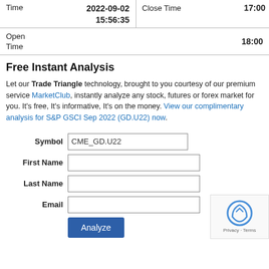| Field | Value | Field | Value |
| --- | --- | --- | --- |
| Time | 2022-09-02
15:56:35 | Close Time | 17:00 |
| Open Time | 18:00 |  |  |
Free Instant Analysis
Let our Trade Triangle technology, brought to you courtesy of our premium service MarketClub, instantly analyze any stock, futures or forex market for you. It's free, It's informative, It's on the money. View our complimentary analysis for S&P GSCI Sep 2022 (GD.U22) now.
Symbol: CME_GD.U22
First Name:
Last Name:
Email:
[Figure (other): reCAPTCHA widget with logo and Privacy - Terms text]